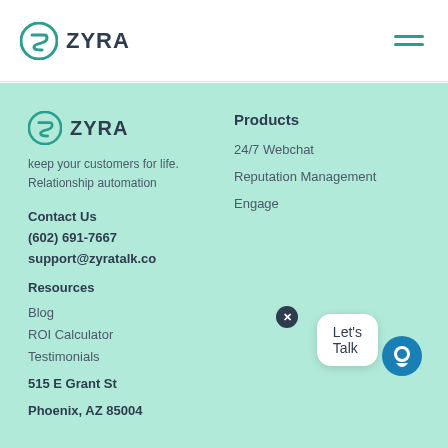ZYRA
[Figure (logo): Zyra company logo — circular teal icon with stylized Z and the word ZYRA in dark text]
keep your customers for life. Relationship automation
Contact Us
(602) 691-7667
support@zyratalk.co
Resources
Blog
ROI Calculator
Testimonials
515 E Grant St
Phoenix, AZ 85004
Products
24/7 Webchat
Reputation Management
Engage
[Figure (other): Let's Talk chat bubble widget with close button and chat icon]